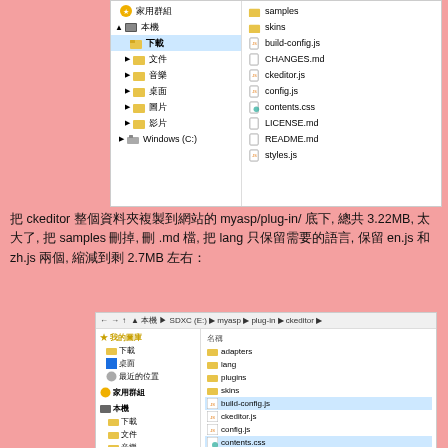[Figure (screenshot): Windows Explorer screenshot showing left panel with file tree (家用群組, 本機 with 下載 selected, 文件, 音樂, 桌面, 圖片, 影片, Windows C:) and right panel listing files: samples, skins, build-config.js, CHANGES.md, ckeditor.js, config.js, contents.css, LICENSE.md, README.md, styles.js]
把 ckeditor 整個資料夾複製到網站的 myasp/plug-in/ 底下, 總共 3.22MB, 太大了, 把 samples 刪掉, 刪 .md 檔, 把 lang 只保留需要的語言, 保留 en.js 和 zh.js 兩個, 縮減到剩 2.7MB 左右：
[Figure (screenshot): Windows Explorer screenshot showing path: 本機 > SDXC(E:) > myasp > plug-in > ckeditor. Left panel shows 我的圖庫, 下載, 桌面, 最近的位置, 家用群組, 本機 with 下載, 文件, 音樂. Right panel shows folders: adapters, lang, plugins, skins, and files: build-config.js (selected/highlighted), ckeditor.js, config.js, contents.css (selected/highlighted), sample.js]